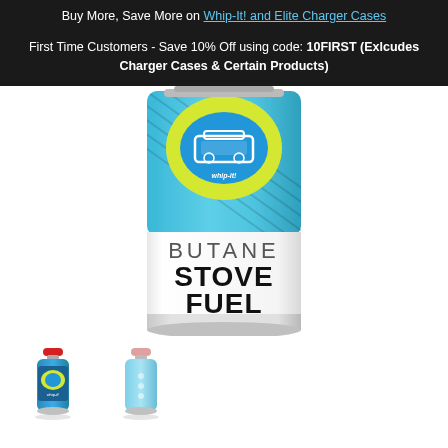Buy More, Save More on Whip-It! and Elite Charger Cases
First Time Customers - Save 10% Off using code: 10FIRST (Exlcudes Charger Cases & Certain Products)
[Figure (photo): A can of Whip-It! Butane Stove Fuel, 8oz/227g. The can has a teal/blue upper section with a yellow circle containing a blue illustration of a camp stove, and a white lower section with large black text reading BUTANE STOVE FUEL and small text NET WEIGHT 8oz / 227g.]
[Figure (photo): Thumbnail of a small butane canister with red cap and blue Whip-It! label.]
[Figure (photo): Thumbnail of a light blue butane canister with pink/red cap.]